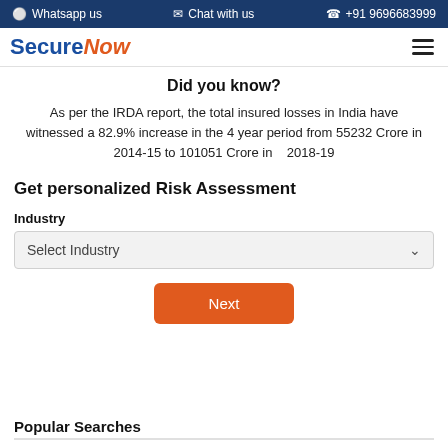Whatsapp us  Chat with us  +91 9696683999
[Figure (logo): SecureNow logo with blue 'Secure' and orange italic 'Now']
Did you know?
As per the IRDA report, the total insured losses in India have witnessed a 82.9% increase in the 4 year period from 55232 Crore in 2014-15 to 101051 Crore in 2018-19
Get personalized Risk Assessment
Industry
Select Industry
Next
Popular Searches